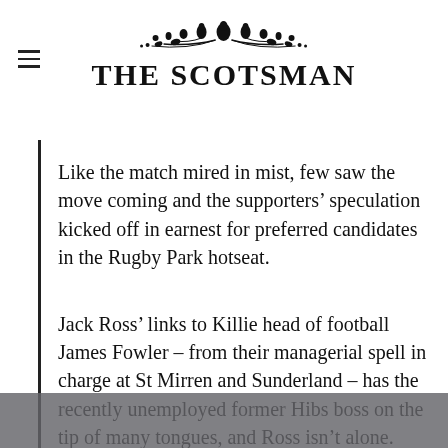THE SCOTSMAN
Like the match mired in mist, few saw the move coming and the supporters’ speculation kicked off in earnest for preferred candidates in the Rugby Park hotseat.
Jack Ross’ links to Killie head of football James Fowler – from their managerial spell in charge at St Mirren and Sunderland – has the recently unemployed former Hibs boss on the tip of many tongues, and Ross isn’t alone. Tam McManus suggested the Championship